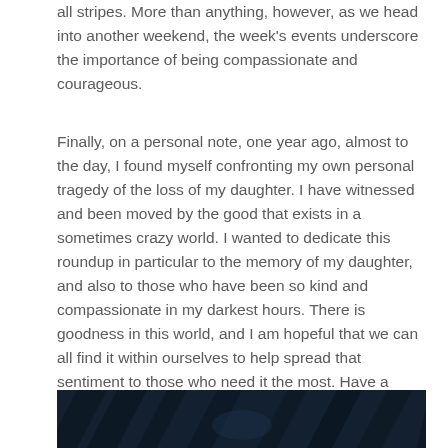all stripes. More than anything, however, as we head into another weekend, the week's events underscore the importance of being compassionate and courageous.
Finally, on a personal note, one year ago, almost to the day, I found myself confronting my own personal tragedy of the loss of my daughter. I have witnessed and been moved by the good that exists in a sometimes crazy world. I wanted to dedicate this roundup in particular to the memory of my daughter, and also to those who have been so kind and compassionate in my darkest hours. There is goodness in this world, and I am hopeful that we can all find it within ourselves to help spread that sentiment to those who need it the most. Have a wonderful weekend!
[Figure (photo): Dark background image with diagonal stripe-like shapes, appears to be a decorative or header image with a deep navy/dark teal color scheme.]